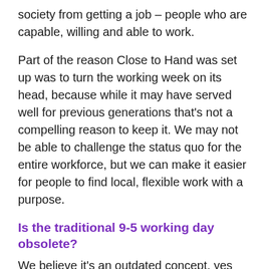society from getting a job – people who are capable, willing and able to work.
Part of the reason Close to Hand was set up was to turn the working week on its head, because while it may have served well for previous generations that's not a compelling reason to keep it. We may not be able to challenge the status quo for the entire workforce, but we can make it easier for people to find local, flexible work with a purpose.
Is the traditional 9-5 working day obsolete?
We believe it's an outdated concept, yes and it seems that we're not alone in that view as freelancing and self-employment are on a steep upward curve.